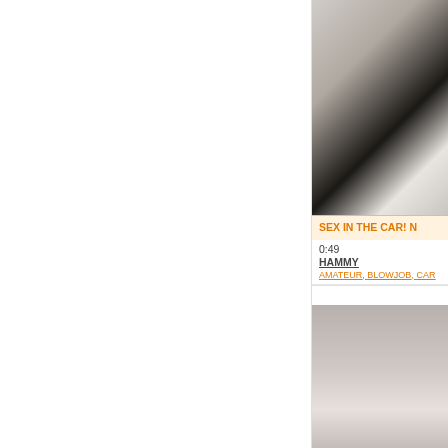[Figure (photo): Blurred close-up photo thumbnail for video card 1]
SEX IN THE CAR! N
0:49
HAMMY
AMATEUR, BLOWJOB, CAR
[Figure (photo): Photo thumbnail showing person lying down for video card 2]
THE BIG BREASTED